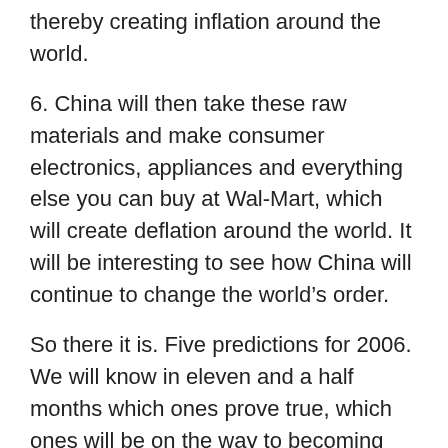thereby creating inflation around the world.
6. China will then take these raw materials and make consumer electronics, appliances and everything else you can buy at Wal-Mart, which will create deflation around the world. It will be interesting to see how China will continue to change the world’s order.
So there it is. Five predictions for 2006. We will know in eleven and a half months which ones prove true, which ones will be on the way to becoming true and which ones will be … well, worthless.
Looking forward to speaking with you in 2006.
With regards,